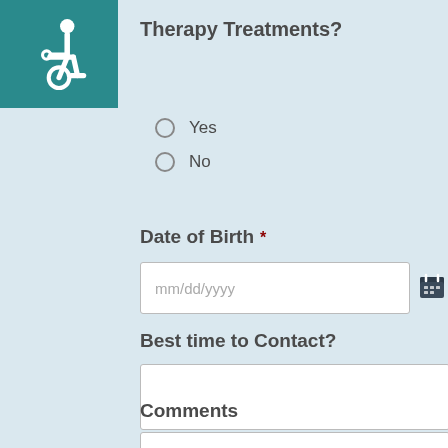[Figure (logo): Teal square with white wheelchair accessibility icon]
Therapy Treatments?
Yes
No
Date of Birth *
mm/dd/yyyy
Best time to Contact?
Comments